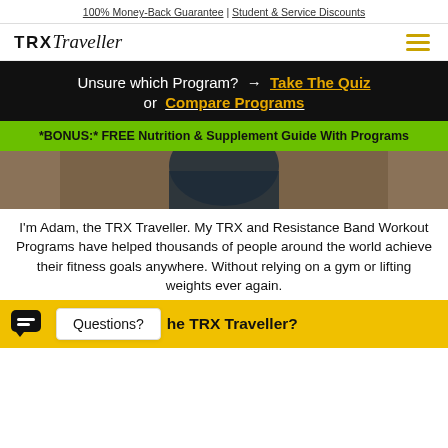100% Money-Back Guarantee | Student & Service Discounts
[Figure (logo): TRX Traveller logo with hamburger menu icon]
Unsure which Program? → Take The Quiz or Compare Programs
*BONUS:* FREE Nutrition & Supplement Guide With Programs
[Figure (photo): Partial photo of a person wearing dark clothing outdoors]
I'm Adam, the TRX Traveller. My TRX and Resistance Band Workout Programs have helped thousands of people around the world achieve their fitness goals anywhere. Without relying on a gym or lifting weights ever again.
Questions? he TRX Traveller?